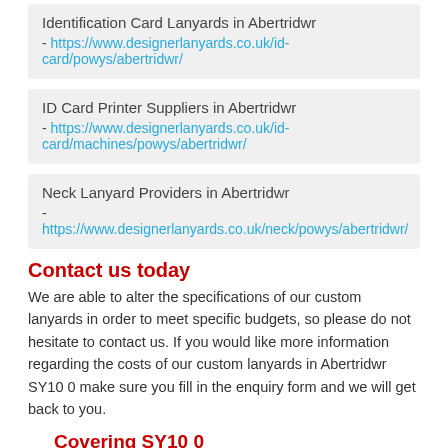Identification Card Lanyards in Abertridwr - https://www.designerlanyards.co.uk/id-card/powys/abertridwr/
ID Card Printer Suppliers in Abertridwr - https://www.designerlanyards.co.uk/id-card/machines/powys/abertridwr/
Neck Lanyard Providers in Abertridwr - https://www.designerlanyards.co.uk/neck/powys/abertridwr/
Contact us today
We are able to alter the specifications of our custom lanyards in order to meet specific budgets, so please do not hesitate to contact us. If you would like more information regarding the costs of our custom lanyards in Abertridwr SY10 0 make sure you fill in the enquiry form and we will get back to you.
Covering SY10 0
[Figure (other): Google Maps embedded map placeholder showing Google logo]